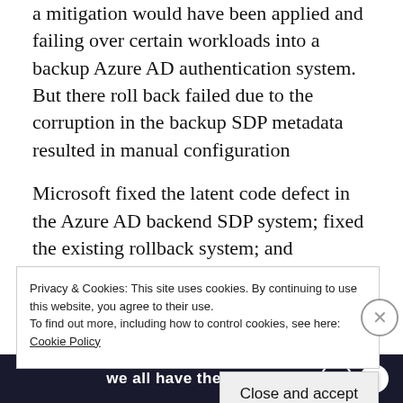a mitigation would have been applied and failing over certain workloads into a backup Azure AD authentication system. But there roll back failed due to the corruption in the backup SDP metadata resulted in manual configuration
Microsoft fixed the latent code defect in the Azure AD backend SDP system; fixed the existing rollback system; and expanded the scope and frequency of rollback operation drills. The team still needs to apply more protections to the Azure AD SDP system to prevent those
Privacy & Cookies: This site uses cookies. By continuing to use this website, you agree to their use.
To find out more, including how to control cookies, see here: Cookie Policy
Close and accept
we all have them!